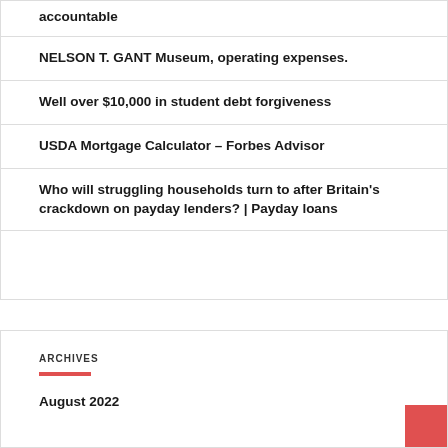accountable
NELSON T. GANT Museum, operating expenses.
Well over $10,000 in student debt forgiveness
USDA Mortgage Calculator – Forbes Advisor
Who will struggling households turn to after Britain's crackdown on payday lenders? | Payday loans
ARCHIVES
August 2022